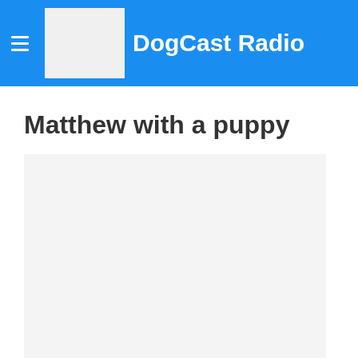DogCast Radio
Matthew with a puppy
[Figure (photo): A large light gray rectangular placeholder image area beneath the title 'Matthew with a puppy']